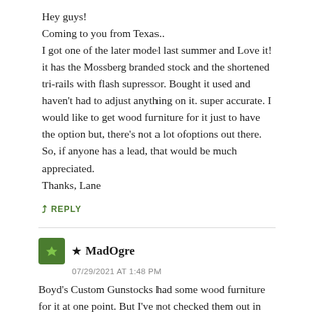Hey guys!
Coming to you from Texas..
I got one of the later model last summer and Love it! it has the Mossberg branded stock and the shortened tri-rails with flash supressor. Bought it used and haven't had to adjust anything on it. super accurate. I would like to get wood furniture for it just to have the option but, there's not a lot ofoptions out there. So, if anyone has a lead, that would be much appreciated.
Thanks, Lane
↳ REPLY
★ MadOgre
07/29/2021 AT 1:48 PM
Boyd's Custom Gunstocks had some wood furniture for it at one point. But I've not checked them out in some